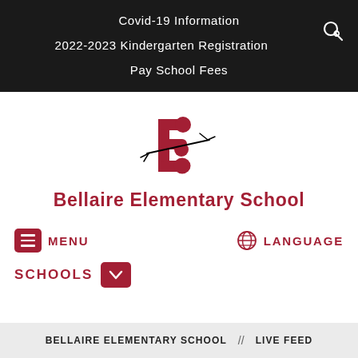Covid-19 Information
2022-2023 Kindergarten Registration
Pay School Fees
[Figure (logo): Bellaire Elementary School logo: red letter B with stylized arrow/lightning bolt through it]
Bellaire Elementary School
MENU
LANGUAGE
SCHOOLS
BELLAIRE ELEMENTARY SCHOOL  //  LIVE FEED